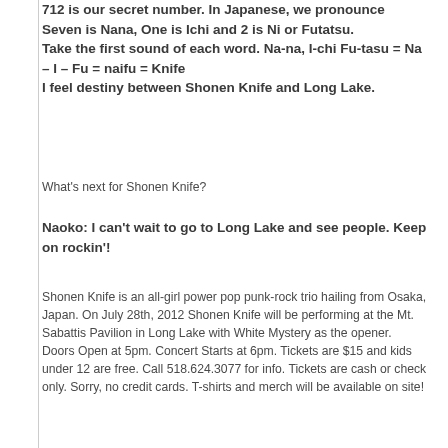712 is our secret number.  In Japanese, we pronounce Seven is Nana, One is Ichi and 2 is Ni or Futatsu.
Take the first sound of each word.  Na-na, I-chi Fu-tasu = Na – I – Fu = naifu = Knife
I feel destiny between Shonen Knife and Long Lake.
What's next for Shonen Knife?
Naoko: I can't wait to go to Long Lake and see people.  Keep on rockin'!
Shonen Knife is an all-girl power pop punk-rock trio hailing from Osaka, Japan. On July 28th, 2012 Shonen Knife will be performing at the Mt. Sabattis Pavilion in Long Lake with White Mystery as the opener. Doors Open at 5pm. Concert Starts at 6pm. Tickets are $15 and kids under 12 are free. Call 518.624.3077 for info. Tickets are cash or check only. Sorry, no credit cards. T-shirts and merch will be available on site!